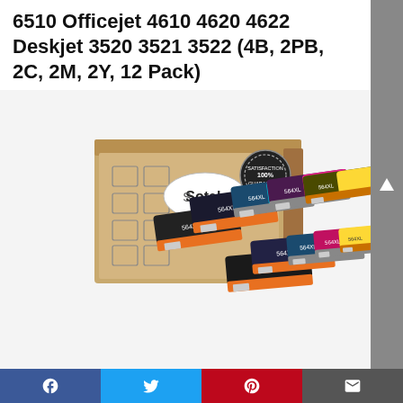6510 Officejet 4610 4620 4622 Deskjet 3520 3521 3522 (4B, 2PB, 2C, 2M, 2Y, 12 Pack)
[Figure (photo): Product photo showing a cardboard box branded 'Sotek' with a satisfaction guaranteed seal, and multiple HP 564XL ink cartridges (black, cyan, magenta, yellow, photo black) arranged in front of and beside the box on a white background.]
Facebook | Twitter | Pinterest | Email